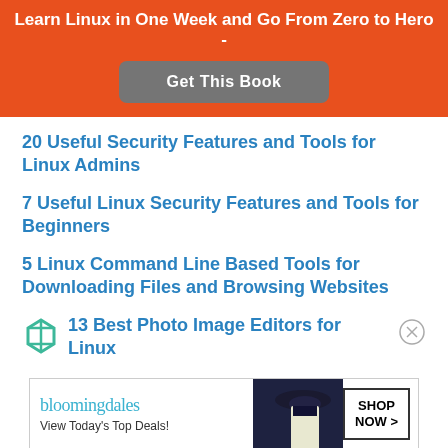Learn Linux in One Week and Go From Zero to Hero -
Get This Book
20 Useful Security Features and Tools for Linux Admins
7 Useful Linux Security Features and Tools for Beginners
5 Linux Command Line Based Tools for Downloading Files and Browsing Websites
13 Best Photo Image Editors for Linux
[Figure (other): Bloomingdale's advertisement banner: 'View Today's Top Deals!' with SHOP NOW > button and woman with hat image]